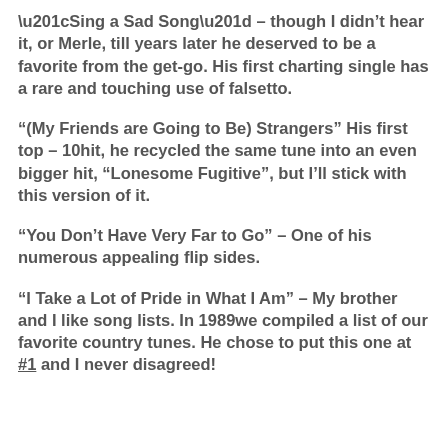“Sing a Sad Song” – though I didn’t hear it, or Merle, till years later he deserved to be a favorite from the get-go. His first charting single has a rare and touching use of falsetto.
“(My Friends are Going to Be) Strangers” His first top – 10hit, he recycled the same tune into an even bigger hit, “Lonesome Fugitive”, but I’ll stick with this version of it.
“You Don’t Have Very Far to Go” – One of his numerous appealing flip sides.
“I Take a Lot of Pride in What I Am” – My brother and I like song lists. In 1989we compiled a list of our favorite country tunes. He chose to put this one at #1 and I never disagreed!